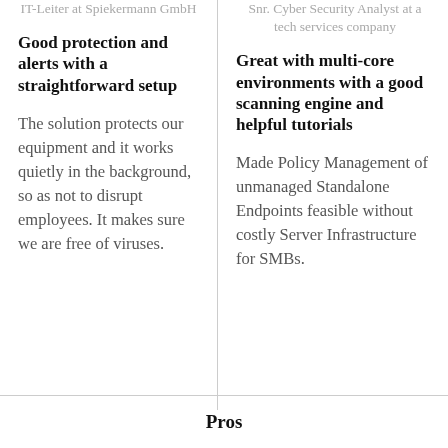IT-Leiter at Spiekermann GmbH
Good protection and alerts with a straightforward setup
The solution protects our equipment and it works quietly in the background, so as not to disrupt employees. It makes sure we are free of viruses.
Snr. Cyber Security Analyst at a tech services company
Great with multi-core environments with a good scanning engine and helpful tutorials
Made Policy Management of unmanaged Standalone Endpoints feasible without costly Server Infrastructure for SMBs.
Pros